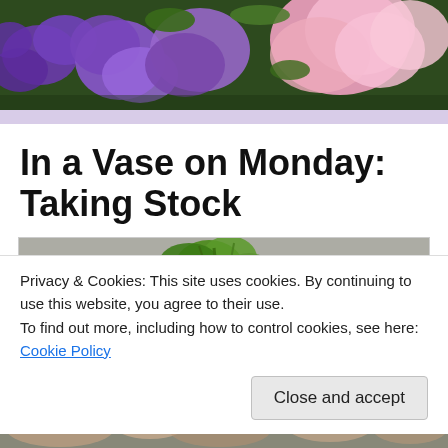[Figure (photo): Header photo of purple and pink flowers with green foliage]
In a Vase on Monday: Taking Stock
[Figure (photo): Article photo showing green foliage and white flowers in a vase]
Privacy & Cookies: This site uses cookies. By continuing to use this website, you agree to their use.
To find out more, including how to control cookies, see here: Cookie Policy
Close and accept
[Figure (photo): Bottom strip photo showing flowers]